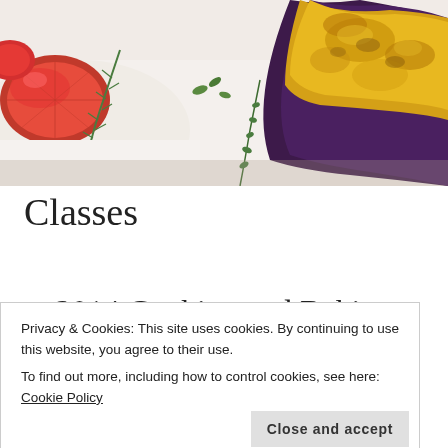[Figure (photo): Food photography showing roasted/grilled vegetables including tomatoes with herbs (rosemary, thyme) and what appears to be eggplant with melted cheese on a white plate background]
Classes
2014 Cooking and Baking Classes
Privacy & Cookies: This site uses cookies. By continuing to use this website, you agree to their use.
To find out more, including how to control cookies, see here: Cookie Policy
Close and accept